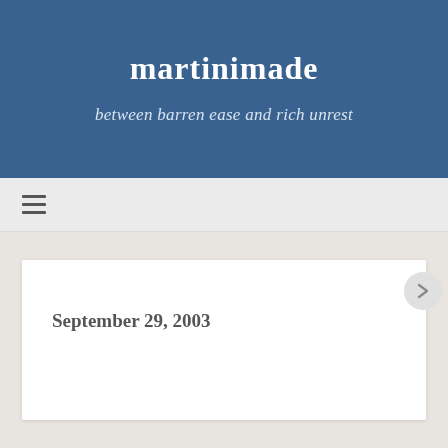martinimade
between barren ease and rich unrest
≡ (navigation menu icon)
September 29, 2003